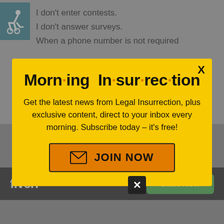[Figure (screenshot): Background page with accessibility icon (wheelchair symbol on teal background) and text lines: 'I don’t enter contests.' and 'I don’t answer surveys.' and 'When a phone number is not required']
I don’t enter contests.
I don’t answer surveys.
When a phone number is not required
[Figure (screenshot): Modal popup with yellow background. Title: 'Morn·ing In·sur·rec·tion' with orange dots. Body text: 'Get the latest news from Legal Insurrection, plus exclusive content, direct to your inbox every morning. Subscribe today – it’s free!' Orange JOIN NOW button with envelope icon. X close button top right.]
Morn·ing In·sur·rec·tion
Get the latest news from Legal Insurrection, plus exclusive content, direct to your inbox every morning. Subscribe today – it’s free!
[Figure (screenshot): Fiverr advertisement banner: black background with white 'fiverr' logo on left and green 'Start Now' button on right. Small black X close button above banner.]
fiverr
Start Now